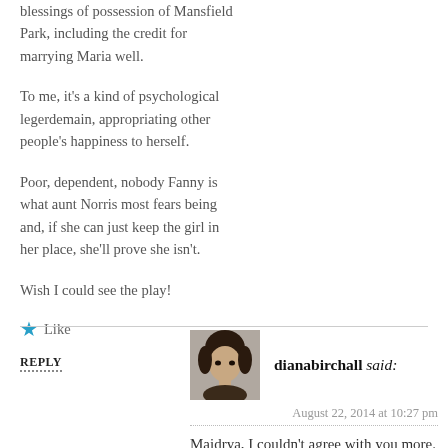blessings of possession of Mansfield Park, including the credit for marrying Maria well.
To me, it's a kind of psychological legerdemain, appropriating other people's happiness to herself.
Poor, dependent, nobody Fanny is what aunt Norris most fears being and, if she can just keep the girl in her place, she'll prove she isn't.
Wish I could see the play!
Like
REPLY
dianabirchall said:
August 22, 2014 at 10:27 pm
Maidrya, I couldn't agree with you more. ENVY is what Mrs. Norris really is all about, and since you wrote what you just did about it, I've had a flash that Jane Austen even gave us a signal. Why is Mrs.